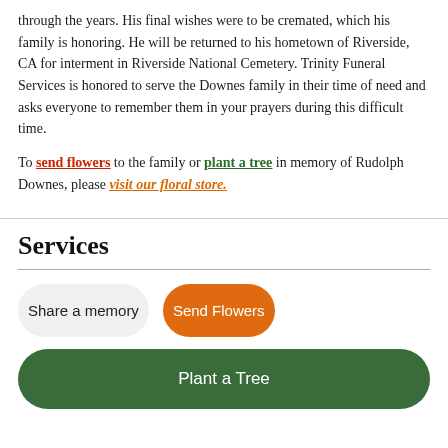through the years. His final wishes were to be cremated, which his family is honoring. He will be returned to his hometown of Riverside, CA for interment in Riverside National Cemetery. Trinity Funeral Services is honored to serve the Downes family in their time of need and asks everyone to remember them in your prayers during this difficult time.
To send flowers to the family or plant a tree in memory of Rudolph Downes, please visit our floral store.
Services
Share a memory
Send Flowers
Plant a Tree